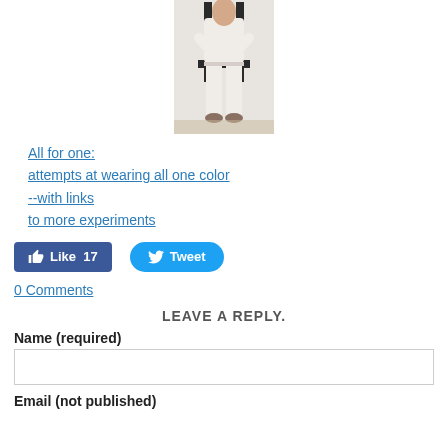[Figure (photo): Person seated on a black chair wearing all white clothing, light background]
All for one:
attempts at wearing all one color
--with links
to more experiments
[Figure (infographic): Facebook Like button showing 17 likes and Twitter Tweet button]
0 Comments
LEAVE A REPLY.
Name (required)
Email (not published)